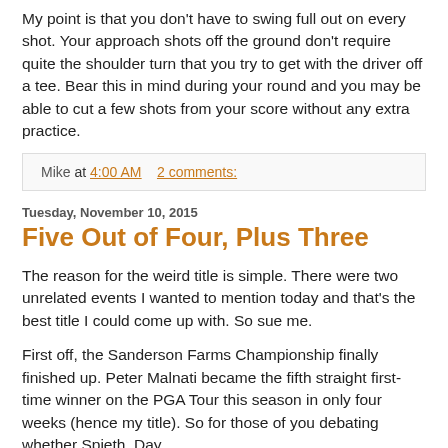My point is that you don't have to swing full out on every shot. Your approach shots off the ground don't require quite the shoulder turn that you try to get with the driver off a tee. Bear this in mind during your round and you may be able to cut a few shots from your score without any extra practice.
Mike at 4:00 AM    2 comments:
Tuesday, November 10, 2015
Five Out of Four, Plus Three
The reason for the weird title is simple. There were two unrelated events I wanted to mention today and that's the best title I could come up with. So sue me.
First off, the Sanderson Farms Championship finally finished up. Peter Malnati became the fifth straight first-time winner on the PGA Tour this season in only four weeks (hence my title). So for those of you debating whether Spieth, Day,